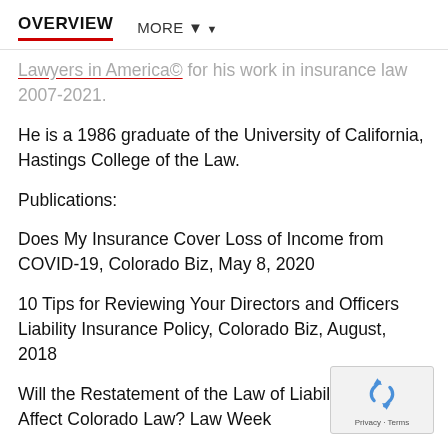OVERVIEW   MORE ▼
Lawyers in America© for his work in insurance law 2007-2021.
He is a 1986 graduate of the University of California, Hastings College of the Law.
Publications:
Does My Insurance Cover Loss of Income from COVID-19, Colorado Biz, May 8, 2020
10 Tips for Reviewing Your Directors and Officers Liability Insurance Policy, Colorado Biz, August, 2018
Will the Restatement of the Law of Liability Insurance Affect Colorado Law? Law Week